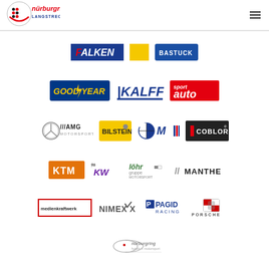[Figure (logo): Nürburgring Langstrecken Serie logo in header]
[Figure (logo): Hamburger menu icon in header top right]
[Figure (logo): Falken tire logo]
[Figure (logo): Yellow square sponsor logo (BERU)]
[Figure (logo): Bastuck logo]
[Figure (logo): Goodyear logo]
[Figure (logo): Kalff logo]
[Figure (logo): Sport Auto logo]
[Figure (logo): Mercedes AMG Motorsport logo]
[Figure (logo): Bilstein logo]
[Figure (logo): BMW M logo]
[Figure (logo): Coblor logo]
[Figure (logo): KTM logo]
[Figure (logo): KW logo]
[Figure (logo): Löhr Gruppe Motorsport logo]
[Figure (logo): Manthey logo]
[Figure (logo): Medienkraftwerk logo]
[Figure (logo): Nimexx logo]
[Figure (logo): Pagid Racing logo]
[Figure (logo): Porsche logo]
[Figure (logo): Nürburgring Hotels + Motorsport footer logo]